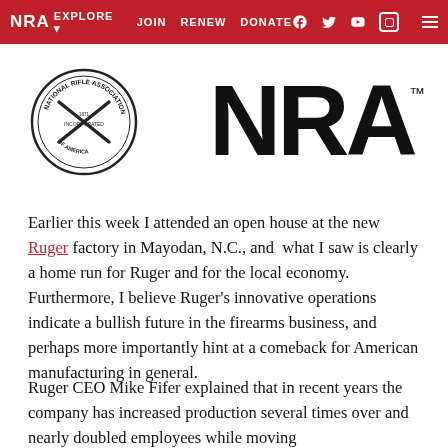NRA EXPLORE JOIN RENEW DONATE
[Figure (logo): NRA circular seal logo on left and large NRA text logo on right with TM mark]
Earlier this week I attended an open house at the new Ruger factory in Mayodan, N.C., and  what I saw is clearly a home run for Ruger and for the local economy. Furthermore, I believe Ruger’s innovative operations indicate a bullish future in the firearms business, and perhaps more importantly hint at a comeback for American manufacturing in general.
Ruger CEO Mike Fifer explained that in recent years the company has increased production several times over and nearly doubled employees while moving...